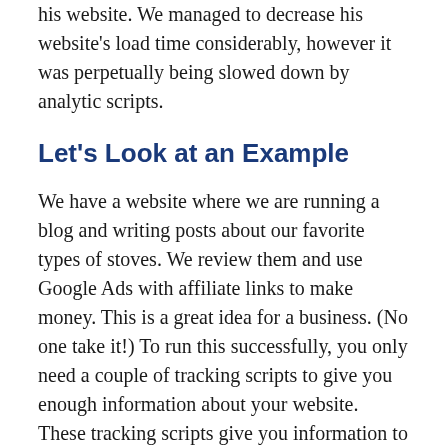his website. We managed to decrease his website's load time considerably, however it was perpetually being slowed down by analytic scripts.
Let's Look at an Example
We have a website where we are running a blog and writing posts about our favorite types of stoves. We review them and use Google Ads with affiliate links to make money. This is a great idea for a business. (No one take it!) To run this successfully, you only need a couple of tracking scripts to give you enough information about your website. These tracking scripts give you information to be able to make informed decisions.